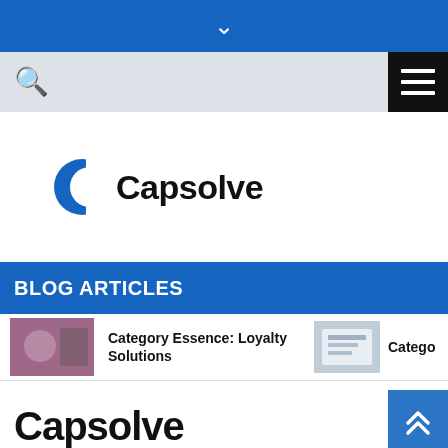▾
[Figure (screenshot): Navigation bar with search icon on left and hamburger menu button on right]
[Figure (logo): Capsolve logo — blue C shape followed by text 'Capsolve']
BLOG ARTICLES
Category Essence: Loyalty Solutions
Catego…
Capsolve
[Figure (other): Back to top button with double up-arrow chevrons]